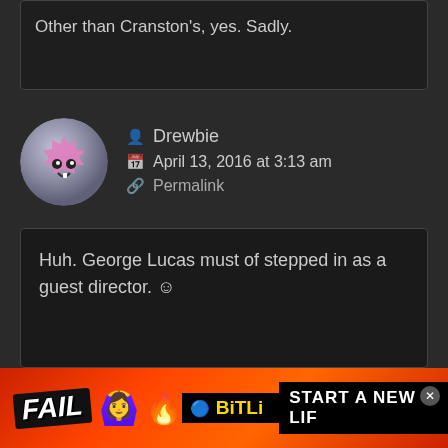Other than Cranston's, yes. Sadly.
Drewbie
April 13, 2016 at 3:13 am
Permalink
Huh. George Lucas must of stepped in as a guest director. ☺
Kicker2
April 13, 2016 at 8:37 am
Permalink
[Figure (screenshot): Ad banner reading FAIL with BitLife START A NEW LIFE advertisement]